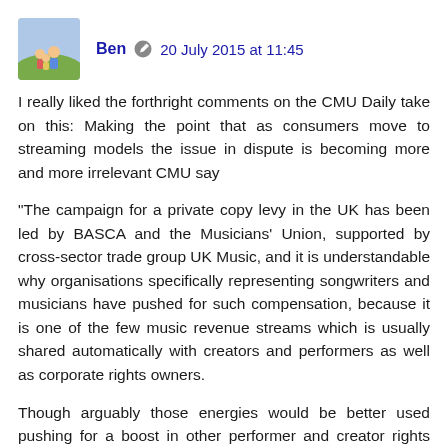Ben · 20 July 2015 at 11:45
I really liked the forthright comments on the CMU Daily take on this: Making the point that as consumers move to streaming models the issue in dispute is becoming more and more irrelevant CMU say
"The campaign for a private copy levy in the UK has been led by BASCA and the Musicians' Union, supported by cross-sector trade group UK Music, and it is understandable why organisations specifically representing songwriters and musicians have pushed for such compensation, because it is one of the few music revenue streams which is usually shared automatically with creators and performers as well as corporate rights owners.
Though arguably those energies would be better used pushing for a boost in other performer and creator rights across Europe, rather than championing a levy which seems idiotic to consumers, most of whom assumed they already had to right to make private copies, and who are